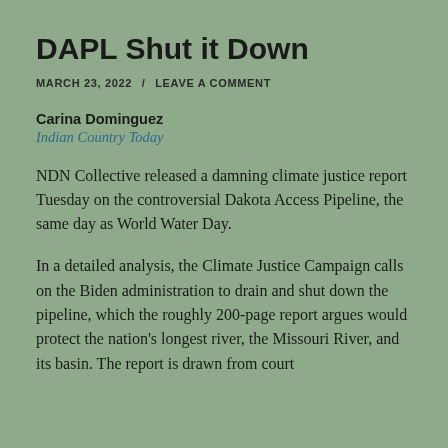DAPL Shut it Down
MARCH 23, 2022  /  LEAVE A COMMENT
Carina Dominguez
Indian Country Today
NDN Collective released a damning climate justice report Tuesday on the controversial Dakota Access Pipeline, the same day as World Water Day.
In a detailed analysis, the Climate Justice Campaign calls on the Biden administration to drain and shut down the pipeline, which the roughly 200-page report argues would protect the nation's longest river, the Missouri River, and its basin. The report is drawn from court